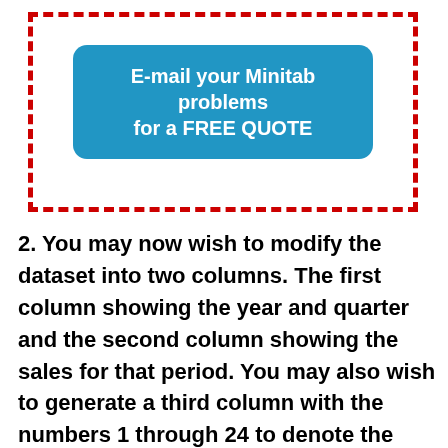[Figure (other): A blue rounded rectangle button with white bold text reading 'E-mail your Minitab problems for a FREE QUOTE', surrounded by a red dashed border box]
2. You may now wish to modify the dataset into two columns. The first column showing the year and quarter and the second column showing the sales for that period. You may also wish to generate a third column with the numbers 1 through 24 to denote the index number for each sales value.